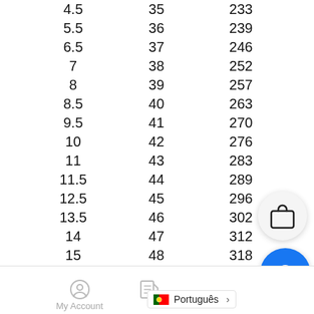| 4.5 | 35 | 233 |
| 5.5 | 36 | 239 |
| 6.5 | 37 | 246 |
| 7 | 38 | 252 |
| 8 | 39 | 257 |
| 8.5 | 40 | 263 |
| 9.5 | 41 | 270 |
| 10 | 42 | 276 |
| 11 | 43 | 283 |
| 11.5 | 44 | 289 |
| 12.5 | 45 | 296 |
| 13.5 | 46 | 302 |
| 14 | 47 | 312 |
| 15 | 48 | 318 |
My Account
Português